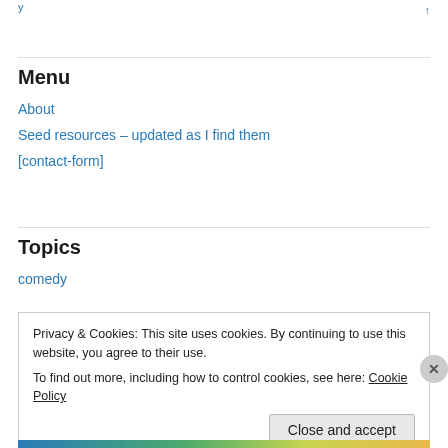Menu
About
Seed resources – updated as I find them
[contact-form]
Topics
comedy
Privacy & Cookies: This site uses cookies. By continuing to use this website, you agree to their use.
To find out more, including how to control cookies, see here: Cookie Policy